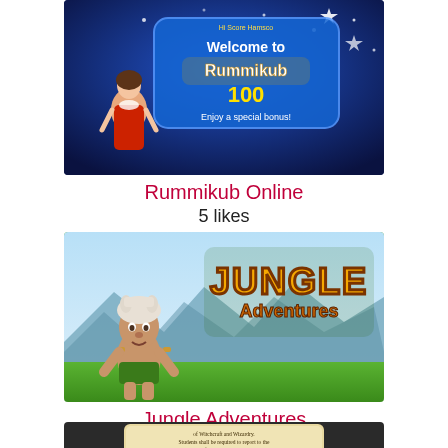[Figure (screenshot): Rummikub Online game welcome screen showing a woman in a red dress, 'Welcome to Rummikub' text, '100' bonus, 'Enjoy a special bonus!' on a blue background with stars]
Rummikub Online
5 likes
[Figure (screenshot): Jungle Adventures game title screen showing a cartoon caveman character with a wolf-skull hat, 'JUNGLE Adventures' logo text, green hills and mountain backdrop]
Jungle Adventures
5 likes
[Figure (screenshot): Partial screenshot showing a scroll/parchment with text about Witchcraft and Wizardry, Chamber of Reception]